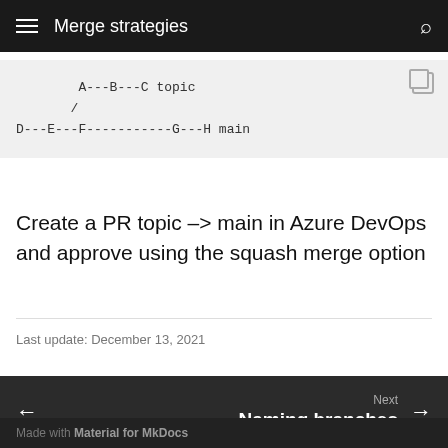Merge strategies
[Figure (other): ASCII diagram showing git branch topology: A---B---C topic branch diverging from D---E---F-----------G---H main]
Create a PR topic -> main in Azure DevOps and approve using the squash merge option
Last update: December 13, 2021
Next
Naming branches
Made with Material for MkDocs